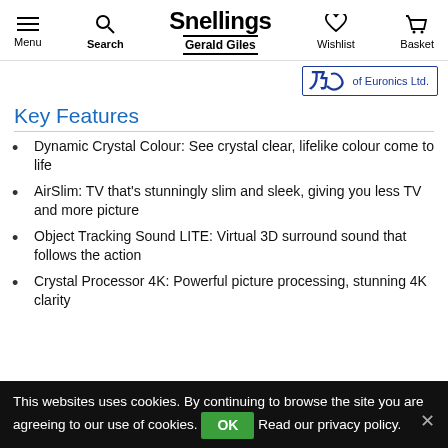Menu | Search | Snellings Gerald Giles | Wishlist | Basket
[Figure (logo): Snellings Gerald Giles logo with Euronics Ltd. badge]
Key Features
Dynamic Crystal Colour: See crystal clear, lifelike colour come to life
AirSlim: TV that's stunningly slim and sleek, giving you less TV and more picture
Object Tracking Sound LITE: Virtual 3D surround sound that follows the action
Crystal Processor 4K: Powerful picture processing, stunning 4K clarity
This websites uses cookies. By continuing to browse the site you are agreeing to our use of cookies. OK Read our privacy policy.